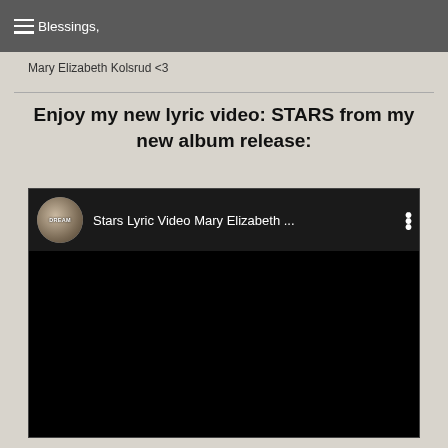Blessings,
Mary Elizabeth Kolsrud <3
Enjoy my new lyric video: STARS from my new album release:
[Figure (screenshot): Embedded YouTube video player showing 'Stars Lyric Video Mary Elizabeth ...' with a circular thumbnail on the left, video title text, and a three-dot menu icon on the right. The main video area is black.]